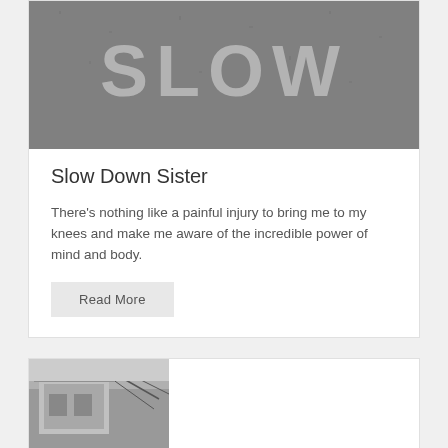[Figure (photo): Grayscale photo of road pavement with text 'SLOW' painted on it, viewed from above]
Slow Down Sister
There's nothing like a painful injury to bring me to my knees and make me aware of the incredible power of mind and body.
Read More
[Figure (photo): Black and white photo partially visible at bottom of page, showing a vehicle or outdoor scene]